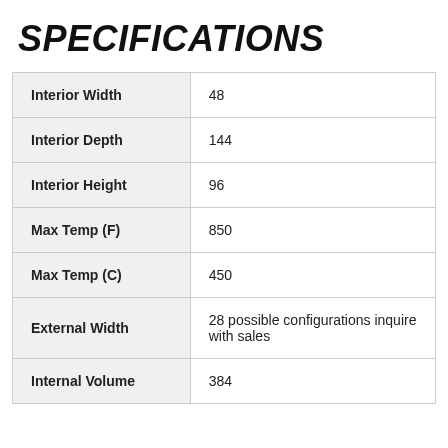SPECIFICATIONS
| Property | Value |
| --- | --- |
| Interior Width | 48 |
| Interior Depth | 144 |
| Interior Height | 96 |
| Max Temp (F) | 850 |
| Max Temp (C) | 450 |
| External Width | 28 possible configurations inquire with sales |
| Internal Volume | 384 |